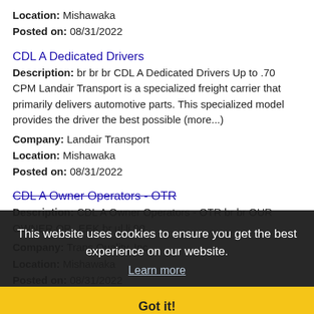Location: Mishawaka
Posted on: 08/31/2022
CDL A Dedicated Drivers
Description: br br br CDL A Dedicated Drivers Up to .70 CPM Landair Transport is a specialized freight carrier that primarily delivers automotive parts. This specialized model provides the driver the best possible (more...)
Company: Landair Transport
Location: Mishawaka
Posted on: 08/31/2022
CDL A Owner Operators - OTR
Description: CDL A Owner Operators - OTR br br OUR OWNER OP... EEK br ul li 90
Company: Trans Quality, Inc.
Location: Mishawaka
Posted on: 08/31/2022
Ultrasound Travel Sonographer
Description: Medical Staffing Options is seeking a
Company: Medical Staffing Options
Location: Mishawaka
This website uses cookies to ensure you get the best experience on our website.
Learn more
Got it!